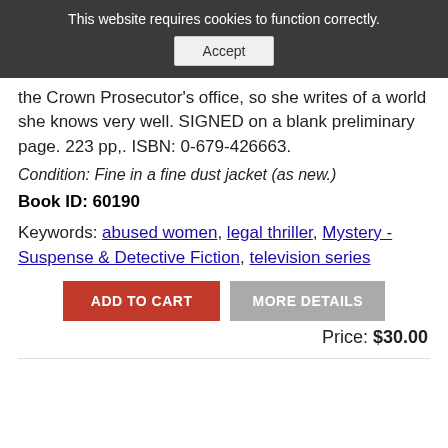This website requires cookies to function correctly. Accept
the Crown Prosecutor's office, so she writes of a world she knows very well. SIGNED on a blank preliminary page. 223 pp,. ISBN: 0-679-426663.
Condition: Fine in a fine dust jacket (as new.)
Book ID: 60190
Keywords: abused women, legal thriller, Mystery - Suspense & Detective Fiction, television series
ADD TO CART   MORE DETAILS
Price: $30.00